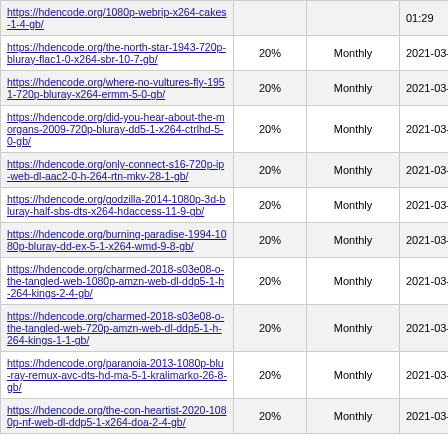| URL | % | Frequency | Date |
| --- | --- | --- | --- |
| https://hdencode.org/1080p-webrip-x264-cakes-1-4-gb/ |  |  | 01:29 |
| https://hdencode.org/the-north-star-1943-720p-bluray-flac1-0-x264-sbr-10-7-gb/ | 20% | Monthly | 2021-03-30 01:04 |
| https://hdencode.org/where-no-vultures-fly-1951-720p-bluray-x264-ermm-5-0-gb/ | 20% | Monthly | 2021-03-30 00:31 |
| https://hdencode.org/did-you-hear-about-the-morgans-2009-720p-bluray-dd5-1-x264-ctrlhd-5-0-gb/ | 20% | Monthly | 2021-03-29 23:58 |
| https://hdencode.org/only-connect-s16-720p-ip-web-dl-aac2-0-h-264-rtn-mkv-28-1-gb/ | 20% | Monthly | 2021-03-29 23:56 |
| https://hdencode.org/godzilla-2014-1080p-3d-bluray-half-sbs-dts-x264-hdaccess-11-9-gb/ | 20% | Monthly | 2021-03-29 23:27 |
| https://hdencode.org/burning-paradise-1994-1080p-bluray-dd-ex-5-1-x264-wmd-9-8-gb/ | 20% | Monthly | 2021-03-29 23:03 |
| https://hdencode.org/charmed-2018-s03e08-o-the-tangled-web-1080p-amzn-web-dl-ddp5-1-h-264-kings-2-4-gb/ | 20% | Monthly | 2021-03-29 22:01 |
| https://hdencode.org/charmed-2018-s03e08-o-the-tangled-web-720p-amzn-web-dl-ddp5-1-h-264-kings-1-1-gb/ | 20% | Monthly | 2021-03-29 22:01 |
| https://hdencode.org/paranoia-2013-1080p-blu-ray-remux-avc-dts-hd-ma-5-1-kralimarko-26-8-gb/ | 20% | Monthly | 2021-03-29 21:52 |
| https://hdencode.org/the-con-heartist-2020-1080p-nf-web-dl-ddp5-1-x264-doa-2-4-gb/ | 20% | Monthly | 2021-03-29 21:37 |